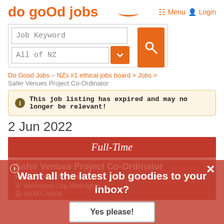[Figure (logo): Do Good Jobs logo in orange text]
Menu  Login
[Figure (screenshot): Search box with Job Keyword input and All of NZ dropdown, orange search button]
Do Good Jobs – NZs #1 ethical jobs board > Jobs >
Safer Venues Project Co-Ordinator
This job listing has expired and may no longer be relevant!
2 Jun 2022
Full-Time
Safer Venues Project Co-Ordinator
RespectEd Aotearoa
Wellington City, Wellington
60000-70000
Want all the latest job goodies to your inbox?
Yes please!